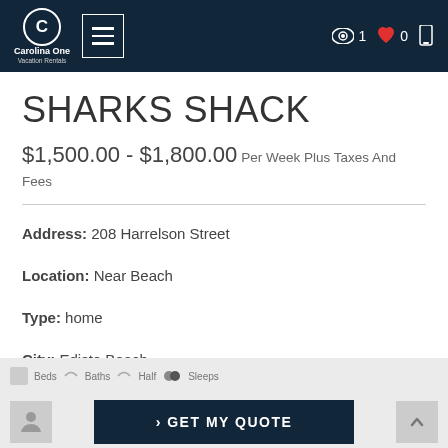Carolina One Vacation Rentals
SHARKS SHACK
$1,500.00 - $1,800.00 Per Week Plus Taxes And Fees
Address: 208 Harrelson Street
Location: Near Beach
Type: home
City: Edisto Beach
Half Bath: 1
Island Section: Near Beach
> GET MY QUOTE